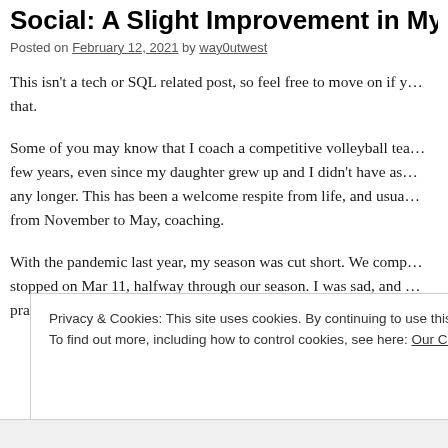Social: A Slight Improvement in My Life
Posted on February 12, 2021 by way0utwest
This isn't a tech or SQL related post, so feel free to move on if y… that.
Some of you may know that I coach a competitive volleyball tea… from November to May, coaching.
With the pandemic last year, my season was cut short. We comp… stopped on Mar 11, halfway through our season. I was sad, and … practicing and training in June to get them ready for the next ye…
Privacy & Cookies: This site uses cookies. By continuing to use this website, you agree to their use. To find out more, including how to control cookies, see here: Our Cookie Policy
Close and accept